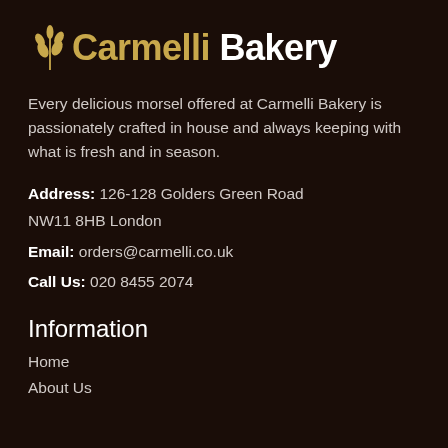[Figure (logo): Carmelli Bakery logo with wheat/grain icon and text in gold and white on dark brown background]
Every delicious morsel offered at Carmelli Bakery is passionately crafted in house and always keeping with what is fresh and in season.
Address: 126-128 Golders Green Road NW11 8HB London
Email: orders@carmelli.co.uk
Call Us: 020 8455 2074
Information
Home
About Us